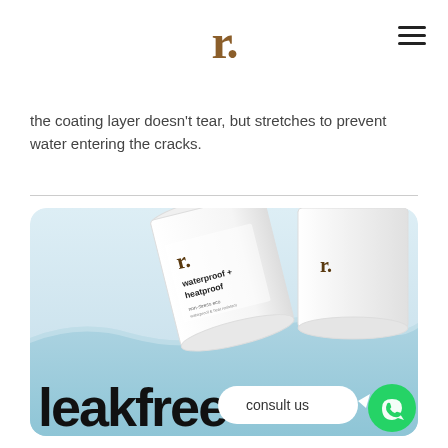r.
the coating layer doesn't tear, but stretches to prevent water entering the cracks.
[Figure (photo): Product photo of 'leakfree' waterproof + heatproof coating cans floating in water, with 'consult us' speech bubble and WhatsApp icon button in the bottom right corner.]